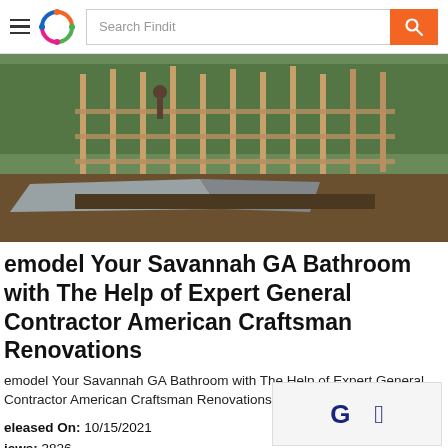Search Findit — Findit app header with logo and search bar
[Figure (photo): Construction photo showing a house being framed with wooden studs, workers visible, muddy ground and plastic sheeting in foreground, trees in background]
Remodel Your Savannah GA Bathroom with The Help of Expert General Contractor American Craftsman Renovations
Remodel Your Savannah GA Bathroom with The Help of Expert General Contractor American Craftsman Renovations
Released On: 10/15/2021
Views: 3826
[Figure (other): Sign-in box with Google G logo and Apple logo buttons]